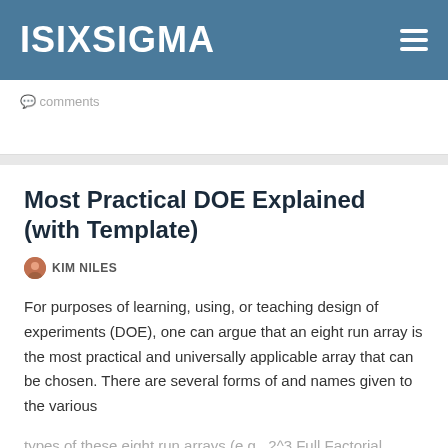ISIXSIGMA
comments
Most Practical DOE Explained (with Template)
KIM NILES
For purposes of learning, using, or teaching design of experiments (DOE), one can argue that an eight run array is the most practical and universally applicable array that can be chosen. There are several forms of and names given to the various types of these eight run arrays (e.g., 2^3 Full Factorial, Taguchi L8, 2^4-1...
9 comments